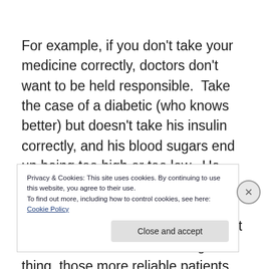For example, if you don’t take your medicine correctly, doctors don’t want to be held responsible.  Take the case of a diabetic (who knows better) but doesn’t take his insulin correctly, and his blood sugars end up being too high or too low.  He could end up in a coma – or worse.  No doctor can help a patient who won’t help himself.  For patients that a doctor can trust to do the right thing, those more reliable patients do not need to be seen as
Privacy & Cookies: This site uses cookies. By continuing to use this website, you agree to their use.
To find out more, including how to control cookies, see here: Cookie Policy
Close and accept